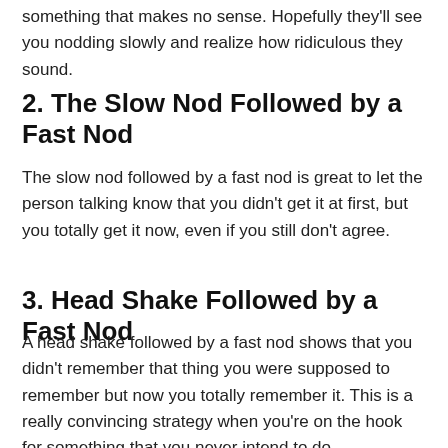something that makes no sense. Hopefully they'll see you nodding slowly and realize how ridiculous they sound.
2. The Slow Nod Followed by a Fast Nod
The slow nod followed by a fast nod is great to let the person talking know that you didn't get it at first, but you totally get it now, even if you still don't agree.
3. Head Shake Followed by a Fast Nod
A head shake followed by a fast nod shows that you didn't remember that thing you were supposed to remember but now you totally remember it. This is a really convincing strategy when you're on the hook for something that you never intend to do.
4. Side to Side Nod